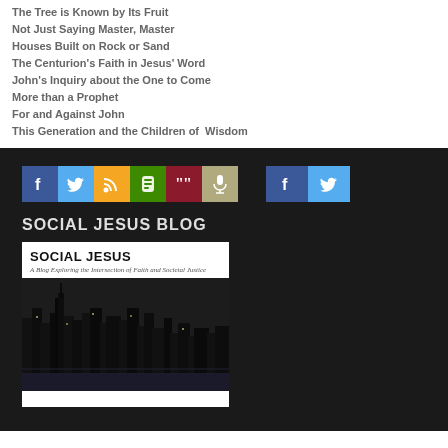The Tree is Known by Its Fruit
Not Just Saying Master, Master
Houses Built on Rock or Sand
The Centurion's Faith in Jesus' Word
John's Inquiry about the One to Come
More than a Prophet
For and Against John
This Generation and the Children of Wisdom
[Figure (infographic): Social media icon buttons: Facebook (blue), Twitter (cyan), RSS (orange), Blogger (green), Google+ (dark red), Microphone (tan/khaki), and two smaller Facebook and Twitter icons to the right]
SOCIAL JESUS BLOG
[Figure (screenshot): Social Jesus blog header image showing title 'SOCIAL JESUS' with subtitle 'A Blog Exploring the Intersection of Faith and Societal Justice' and a black and white city skyline photo]